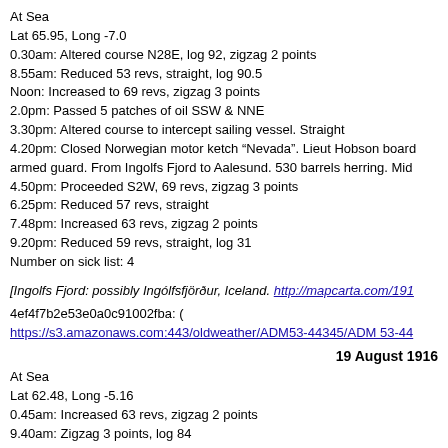At Sea
Lat 65.95, Long -7.0
0.30am: Altered course N28E, log 92, zigzag 2 points
8.55am: Reduced 53 revs, straight, log 90.5
Noon: Increased to 69 revs, zigzag 3 points
2.0pm: Passed 5 patches of oil SSW & NNE
3.30pm: Altered course to intercept sailing vessel. Straight
4.20pm: Closed Norwegian motor ketch “Nevada”. Lieut Hobson boarded armed guard. From Ingolfs Fjord to Aalesund. 530 barrels herring. Mid
4.50pm: Proceeded S2W, 69 revs, zigzag 3 points
6.25pm: Reduced 57 revs, straight
7.48pm: Increased 63 revs, zigzag 2 points
9.20pm: Reduced 59 revs, straight, log 31
Number on sick list: 4
[Ingolfs Fjord: possibly Ingólfsfjörður, Iceland. http://mapcarta.com/191...
4ef4f7b2e53e0a0c91002fba: ( https://s3.amazonaws.com:443/oldweather/ADM53-44345/ADM 53-44...
19 August 1916
At Sea
Lat 62.48, Long -5.16
0.45am: Increased 63 revs, zigzag 2 points
9.40am: Zigzag 3 points, log 84
1.20pm: Challenged HMS “Orotava” bound West
2.40pm: Altered course S19E, log 49.5, zigzag 3 points
7.50pm: Passed ketch TG 228 steering NWxW
11.50pm: Observed Esha Ness Lt bearing S65E (C)
Number on sick list: 4